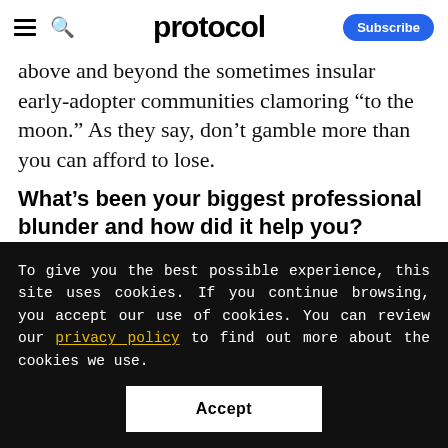protocol
above and beyond the sometimes insular early-adopter communities clamoring “to the moon.” As they say, don’t gamble more than you can afford to lose.
What’s been your biggest professional blunder and how did it help you?
To give you the best possible experience, this site uses cookies. If you continue browsing, you accept our use of cookies. You can review our privacy policy to find out more about the cookies we use.
Accept